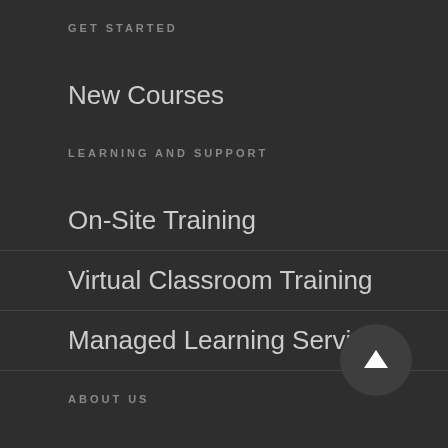GET STARTED
New Courses
LEARNING AND SUPPORT
On-Site Training
Virtual Classroom Training
Managed Learning Services
ABOUT US
Our Philosophy
Join Our Instructor Team
CONTACT US
[Figure (illustration): Scroll-to-top button: dark circular button with white upward arrow]